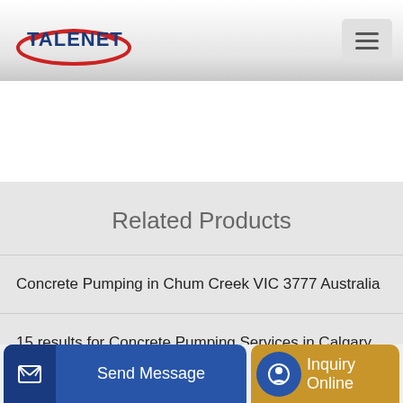[Figure (logo): Talenet logo with red ellipse and blue text]
[Figure (other): Hamburger menu button icon (three horizontal lines)]
Related Products
Concrete Pumping in Chum Creek VIC 3777 Australia
15 results for Concrete Pumping Services in Calgary AB
Send Message
Inquiry Online